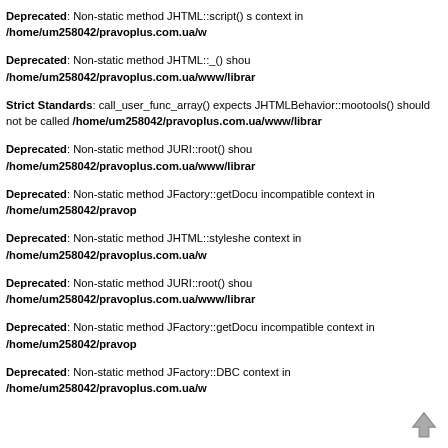Deprecated: Non-static method JHTML::script() s context in /home/um258042/pravoplus.com.ua/w
Deprecated: Non-static method JHTML::_() shou /home/um258042/pravoplus.com.ua/www/librar
Strict Standards: call_user_func_array() expects JHTMLBehavior::mootools() should not be called /home/um258042/pravoplus.com.ua/www/librar
Deprecated: Non-static method JURI::root() shou /home/um258042/pravoplus.com.ua/www/librar
Deprecated: Non-static method JFactory::getDocu incompatible context in /home/um258042/pravop
Deprecated: Non-static method JHTML::styleshe context in /home/um258042/pravoplus.com.ua/w
Deprecated: Non-static method JURI::root() shou /home/um258042/pravoplus.com.ua/www/librar
Deprecated: Non-static method JFactory::getDocu incompatible context in /home/um258042/pravop
Deprecated: Non-static method JFactory::getDBC context in /home/um258042/pravoplus.com.ua/w